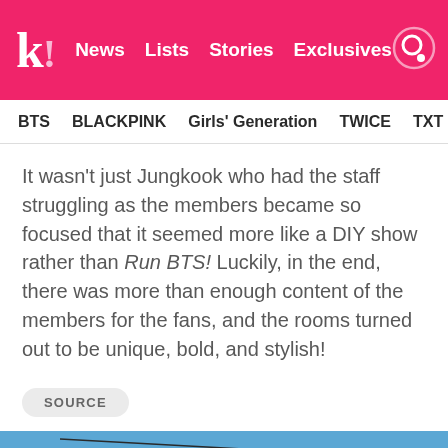k! News Lists Stories Exclusives
BTS BLACKPINK Girls' Generation TWICE TXT SEVE
It wasn't just Jungkook who had the staff struggling as the members became so focused that it seemed more like a DIY show rather than Run BTS! Luckily, in the end, there was more than enough content of the members for the fans, and the rooms turned out to be unique, bold, and stylish!
SOURCE
[Figure (photo): Photo of BTS members against a blue sky background with string lights]